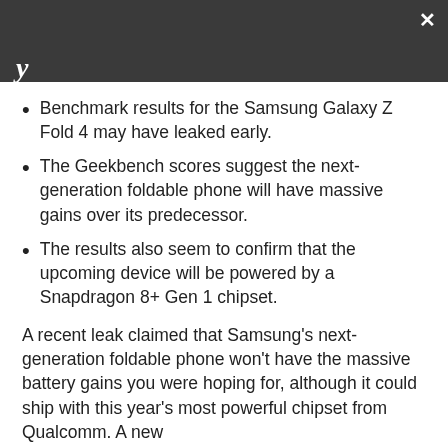y
Benchmark results for the Samsung Galaxy Z Fold 4 may have leaked early.
The Geekbench scores suggest the next-generation foldable phone will have massive gains over its predecessor.
The results also seem to confirm that the upcoming device will be powered by a Snapdragon 8+ Gen 1 chipset.
A recent leak claimed that Samsung's next-generation foldable phone won't have the massive battery gains you were hoping for, although it could ship with this year's most powerful chipset from Qualcomm. A new